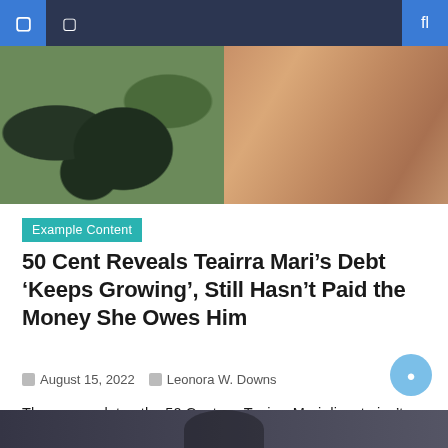Navigation bar
[Figure (photo): Split hero image: left side shows a person in camouflage clothing, right side shows a person with reddish-blonde hair]
Example Content
50 Cent Reveals Teairra Mari’s Debt ‘Keeps Growing’, Still Hasn’t Paid the Money She Owes Him
August 15, 2022   Leonora W. Downs
Three years later, the 50 Cent vs. Teairra Mari dispute isn’t over yet. It seems the rap mogul is still trying to earn his judgment money from the ‘Love and Hip Hop: Hollywood’ star. 50 Cent and Teairra Mari. (Photos: @50cent/Instagram, @maatmari/Instagram) In his latest “The Breakfast Club” interview, the “In da Club” rapper was [...]
[Figure (photo): Bottom image showing a group of people, partially visible]